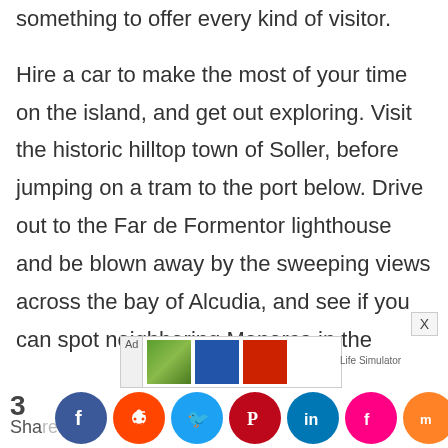something to offer every kind of visitor. Hire a car to make the most of your time on the island, and get out exploring. Visit the historic hilltop town of Soller, before jumping on a tram to the port below. Drive out to the Far de Formentor lighthouse and be blown away by the sweeping views across the bay of Alcudia, and see if you can spot neighboring Menorca in the distance. Discover an underground world of stalagmites and stalactites at the Drach Caves in Porto Cristo, and take a
3 Shares — social share bar with Facebook, Reddit, Twitter, Pinterest, LinkedIn, Flipboard, Mix, More